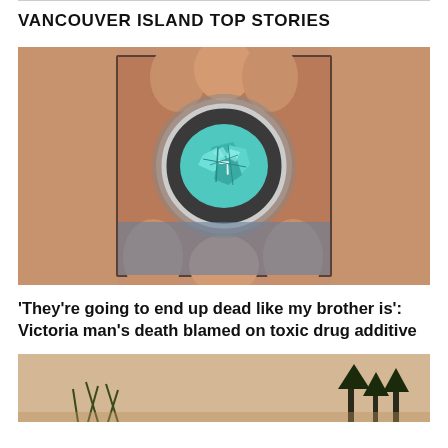VANCOUVER ISLAND TOP STORIES
[Figure (photo): Close-up photo of a hand holding a small clear container with blue-green crystalline substance inside, against a blue fabric background. The container appears to be a small pill or drug vial. The surrounding area shows a skin-toned blurred background.]
'They're going to end up dead like my brother is': Victoria man's death blamed on toxic drug additive
[Figure (photo): Partial view of a second news story photo, showing what appears to be an outdoor scene, partially cut off at the bottom of the page.]